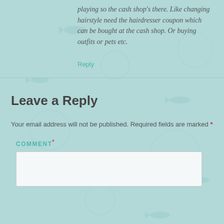playing so the cash shop’s there. Like changing hairstyle need the hairdresser coupon which can be bought at the cash shop. Or buying outfits or pets etc.
Reply
Leave a Reply
Your email address will not be published. Required fields are marked *
COMMENT *